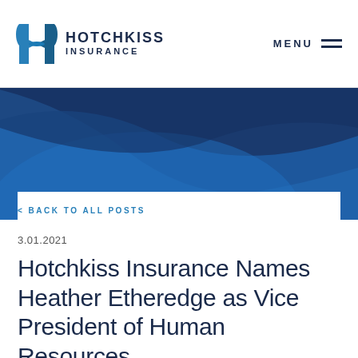HOTCHKISS INSURANCE  MENU
[Figure (illustration): Blue wave/swoosh decorative banner background with dark navy and medium blue curved shapes on a lighter blue background]
< BACK TO ALL POSTS
3.01.2021
Hotchkiss Insurance Names Heather Etheredge as Vice President of Human Resources